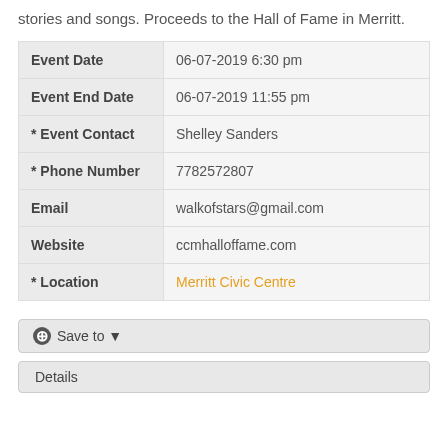stories and songs.  Proceeds to the Hall of Fame in Merritt.
| Event Date | 06-07-2019 6:30 pm |
| Event End Date | 06-07-2019 11:55 pm |
| * Event Contact | Shelley Sanders |
| * Phone Number | 7782572807 |
| Email | walkofstars@gmail.com |
| Website | ccmhalloffame.com |
| * Location | Merritt Civic Centre |
+ Save to ▼
Details